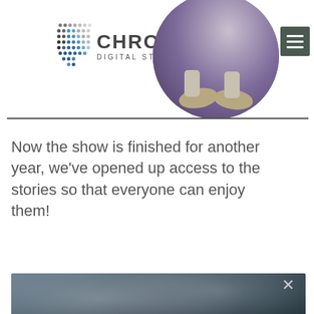[Figure (logo): Chronicle Digital Storytelling logo with dot-grid pattern and hamburger menu icon]
[Figure (photo): Circular cropped photo showing a person's feet/shoes on a purple background, partially overlapping the header]
Now the show is finished for another year, we've opened up access to the stories so that everyone can enjoy them!
[Figure (screenshot): Dark blurry video/image thumbnail with an X close button in the top right corner]